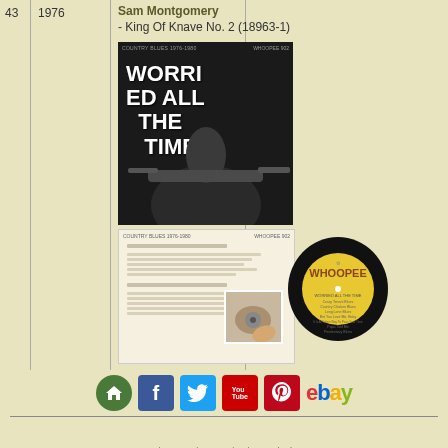| # | Year | Artist / Title |
| --- | --- | --- |
| 43 | 1976 | Sam Montgomery
- King Of Knave No. 2 (18963-1) |
[Figure (photo): Album cover for 'Worried All The Time' on Whoopee label, showing a blues guitarist with the album title in large white text; back cover tracklist; and a yellow Whoopee record label disc]
[Figure (infographic): Social media icons row: home (green circle), Facebook, Twitter, YouTube, Pinterest, eBay]
'Texas' Alexander discography (latest date of editing: 02/01/2021)
© responsible for contents: Stefan Wirz
00589135
counting 'American Music' since 12/08/2019